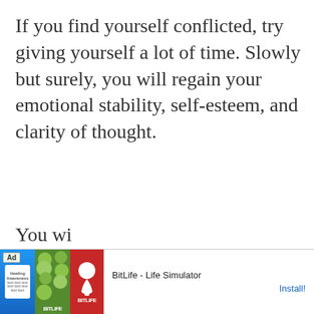If you find yourself conflicted, try giving yourself a lot of time. Slowly but surely, you will regain your emotional stability, self-esteem, and clarity of thought.
You wi... emotio... ion.
[Figure (screenshot): Mobile advertisement banner for BitLife - Life Simulator app. Shows Ad label, app icon images (blue, green with leaves, red with sperm icon), app name 'BitLife - Life Simulator', and Install! button.]